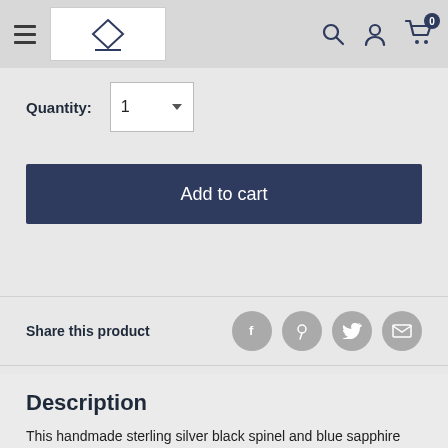Navigation bar with logo, search, account, and cart icons
Quantity: 1
Add to cart
Share this product
Description
This handmade sterling silver black spinel and blue sapphire